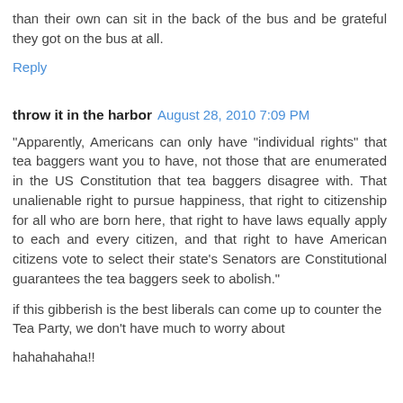than their own can sit in the back of the bus and be grateful they got on the bus at all.
Reply
throw it in the harbor   August 28, 2010 7:09 PM
"Apparently, Americans can only have "individual rights" that tea baggers want you to have, not those that are enumerated in the US Constitution that tea baggers disagree with. That unalienable right to pursue happiness, that right to citizenship for all who are born here, that right to have laws equally apply to each and every citizen, and that right to have American citizens vote to select their state's Senators are Constitutional guarantees the tea baggers seek to abolish."
if this gibberish is the best liberals can come up to counter the Tea Party, we don't have much to worry about
hahahahaha!!